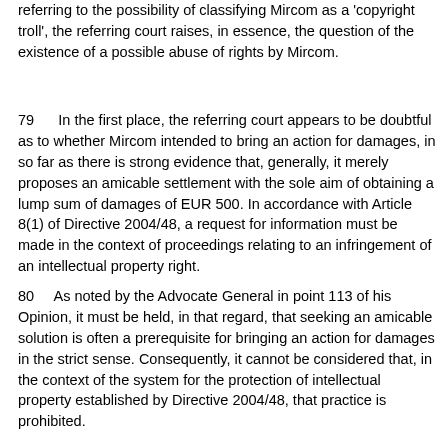referring to the possibility of classifying Mircom as a 'copyright troll', the referring court raises, in essence, the question of the existence of a possible abuse of rights by Mircom.
79      In the first place, the referring court appears to be doubtful as to whether Mircom intended to bring an action for damages, in so far as there is strong evidence that, generally, it merely proposes an amicable settlement with the sole aim of obtaining a lump sum of damages of EUR 500. In accordance with Article 8(1) of Directive 2004/48, a request for information must be made in the context of proceedings relating to an infringement of an intellectual property right.
80      As noted by the Advocate General in point 113 of his Opinion, it must be held, in that regard, that seeking an amicable solution is often a prerequisite for bringing an action for damages in the strict sense. Consequently, it cannot be considered that, in the context of the system for the protection of intellectual property established by Directive 2004/48, that practice is prohibited.